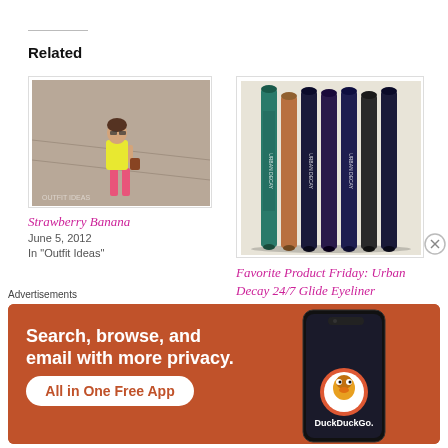Related
[Figure (photo): Photo of a woman in a yellow top and pink pants standing outdoors on a street]
Strawberry Banana
June 5, 2012
In "Outfit Ideas"
[Figure (photo): Photo of six Urban Decay 24/7 Glide Eyeliner pencils standing upright in various colors]
Favorite Product Friday: Urban Decay 24/7 Glide Eyeliner
April 27, 2012
In "Favorite Products"
Advertisements
[Figure (photo): DuckDuckGo advertisement banner with orange background showing a phone and text: Search, browse, and email with more privacy. All in One Free App. DuckDuckGo.]